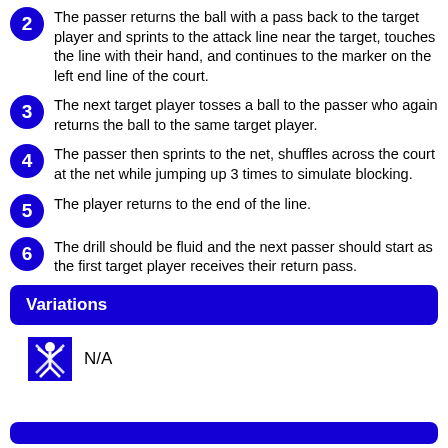2. The passer returns the ball with a pass back to the target player and sprints to the attack line near the target, touches the line with their hand, and continues to the marker on the left end line of the court.
3. The next target player tosses a ball to the passer who again returns the ball to the same target player.
4. The passer then sprints to the net, shuffles across the court at the net while jumping up 3 times to simulate blocking.
5. The player returns to the end of the line.
6. The drill should be fluid and the next passer should start as the first target player receives their return pass.
Variations
N/A